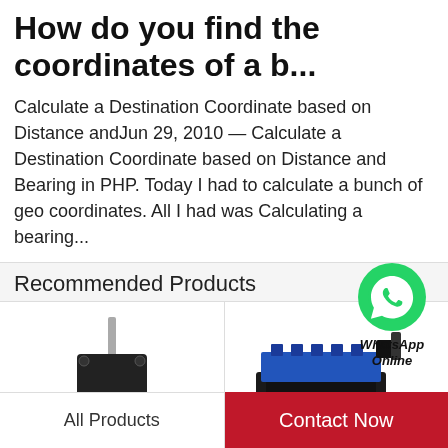How do you find the coordinates of a b...
Calculate a Destination Coordinate based on Distance andJun 29, 2010 — Calculate a Destination Coordinate based on Distance and Bearing in PHP. Today I had to calculate a bunch of geo coordinates. All I had was Calculating a bearing...
Recommended Products
[Figure (photo): WhatsApp Online badge with green WhatsApp icon]
[Figure (photo): Industrial mechanical pump/valve product photo on white background]
[Figure (photo): Industrial hydraulic valve with blue component product photo]
All Products
Contact Now